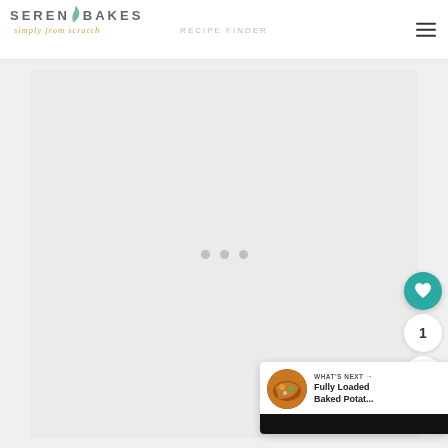[Figure (logo): Serena Bakes Simply From Scratch logo with teal leaf accent and script subtitle]
SERENA BAKES
simply from scratch
[Figure (other): Hamburger menu icon (three horizontal lines) in top right corner]
[Figure (other): Large light gray content/advertisement loading area with three gray dots indicating loading state]
[Figure (other): Teal circular heart/favorite button floating on right side]
1
[Figure (other): White circular share button with share icon floating on right side]
[Figure (other): What's Next card in bottom right showing thumbnail of Fully Loaded Baked Potato dish]
WHAT'S NEXT →
Fully Loaded Baked Potat...